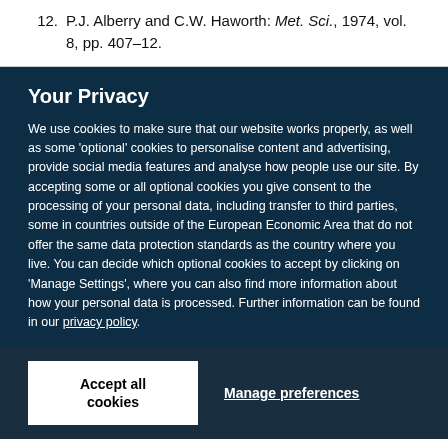12. P.J. Alberry and C.W. Haworth: Met. Sci., 1974, vol. 8, pp. 407–12.
Your Privacy
We use cookies to make sure that our website works properly, as well as some 'optional' cookies to personalise content and advertising, provide social media features and analyse how people use our site. By accepting some or all optional cookies you give consent to the processing of your personal data, including transfer to third parties, some in countries outside of the European Economic Area that do not offer the same data protection standards as the country where you live. You can decide which optional cookies to accept by clicking on 'Manage Settings', where you can also find more information about how your personal data is processed. Further information can be found in our privacy policy.
Accept all cookies
Manage preferences